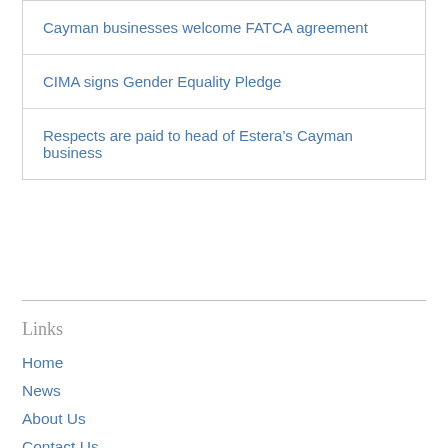Cayman businesses welcome FATCA agreement
CIMA signs Gender Equality Pledge
Respects are paid to head of Estera’s Cayman business
Links
Home
News
About Us
Contact Us
Terms of Use
Privacy Policy